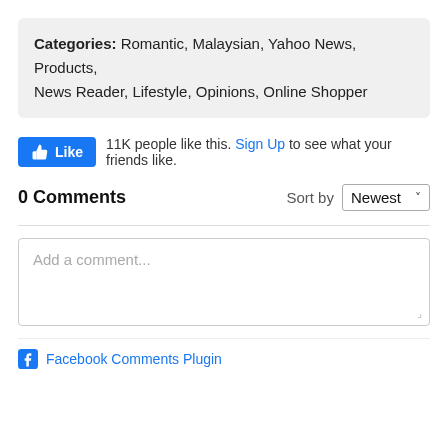Categories: Romantic, Malaysian, Yahoo News, Products, News Reader, Lifestyle, Opinions, Online Shopper
[Figure (other): Facebook Like button with thumbs up icon and text '11K people like this. Sign Up to see what your friends like.']
0 Comments   Sort by Newest
Add a comment...
Facebook Comments Plugin